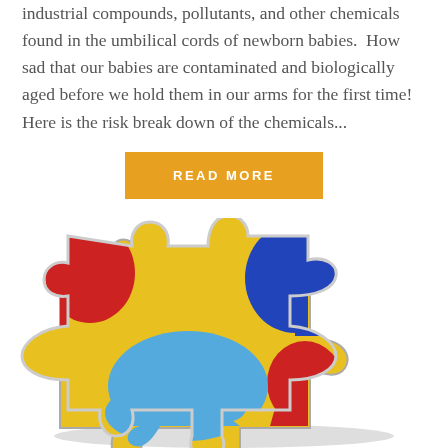industrial compounds, pollutants, and other chemicals found in the umbilical cords of newborn babies.  How sad that our babies are contaminated and biologically aged before we hold them in our arms for the first time!    Here is the risk break down of the chemicals...
READ MORE
[Figure (photo): Colorful autism awareness puzzle piece pin/badge with red, yellow, blue sections against white background]